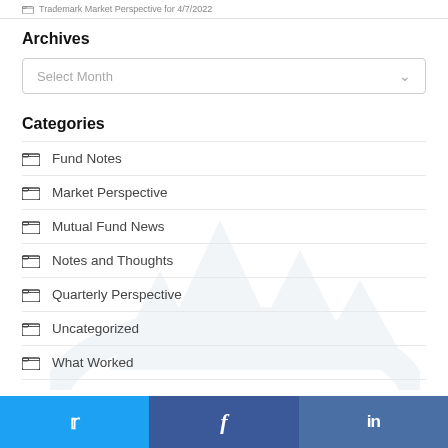Trademark Market Perspective for 4/7/2022
Archives
Select Month
Categories
Fund Notes
Market Perspective
Mutual Fund News
Notes and Thoughts
Quarterly Perspective
Uncategorized
What Worked
Twitter  Facebook  LinkedIn